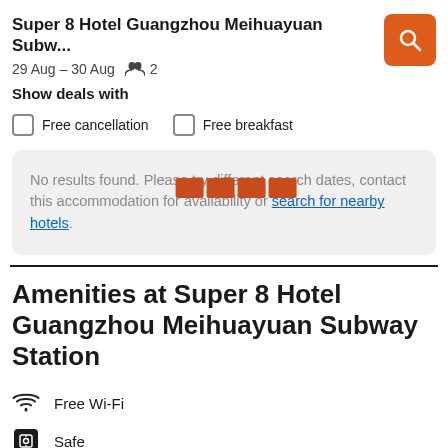Super 8 Hotel Guangzhou Meihuayuan Subw...
29 Aug – 30 Aug  2
Show deals with
Free cancellation
Free breakfast
No results found. Please try different search dates, contact this accommodation for availability or search for nearby hotels.
Amenities at Super 8 Hotel Guangzhou Meihuayuan Subway Station
Free Wi-Fi
Safe